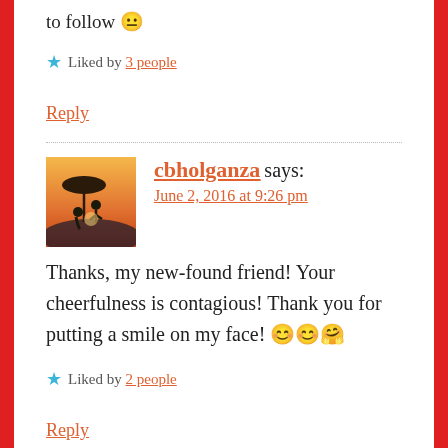to follow 😶
★ Liked by 3 people
Reply
[Figure (photo): Avatar photo of cbholganza showing silhouettes of two people under an umbrella at sunset]
cbholganza says:
June 2, 2016 at 9:26 pm
Thanks, my new-found friend! Your cheerfulness is contagious! Thank you for putting a smile on my face! 😊😊🤗
★ Liked by 2 people
Reply